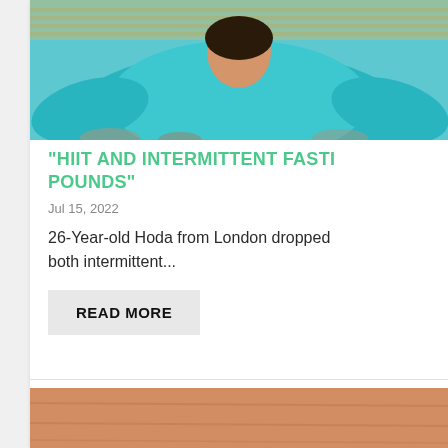[Figure (photo): Person wearing a teal/turquoise oversized top, partially cropped, with a bamboo/stone background]
“HIIT AND INTERMITTENT FASTI… POUNDS”
Jul 15, 2022
26-Year-old Hoda from London dropped… both intermittent…
READ MORE
[Figure (photo): Partial image at the bottom, warm orange/brown tones, appears to be a wooden surface or food item]